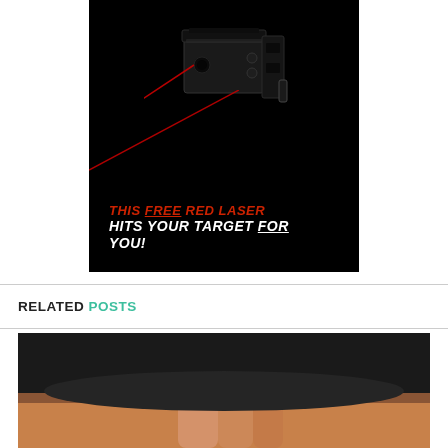[Figure (photo): Advertisement showing a black laser sight device on a black background with a red laser beam. Text overlay reads: THIS FREE RED LASER HITS YOUR TARGET FOR YOU!]
RELATED POSTS
[Figure (photo): Partial photo showing what appears to be a person's hand near a dark firearm or similar object, cropped at the bottom of the page.]